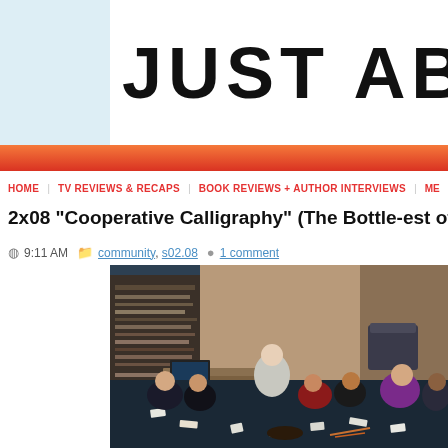JUST ABO[UT]
HOME   TV REVIEWS & RECAPS   BOOK REVIEWS + AUTHOR INTERVIEWS   ME
2x08 "Cooperative Calligraphy" (The Bottle-est of
9:11 AM  community, s02.08  1 comment
[Figure (photo): Group of people sitting on a floor in a library/classroom setting, with papers and objects scattered around them. An older person sits in a chair in the background while others sit on the floor in a circle.]